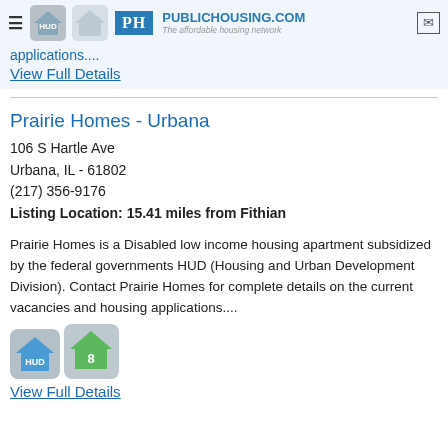PublicHousing.com - The affordable housing network
applications....
View Full Details
Prairie Homes - Urbana
106 S Hartle Ave
Urbana, IL - 61802
(217) 356-9176
Listing Location: 15.41 miles from Fithian
Prairie Homes is a Disabled low income housing apartment subsidized by the federal governments HUD (Housing and Urban Development Division). Contact Prairie Homes for complete details on the current vacancies and housing applications....
View Full Details